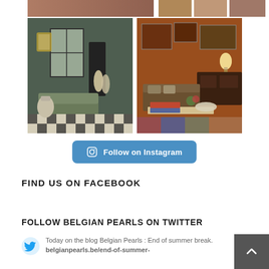[Figure (photo): Top strip: large image of people on left, two smaller collage images on right]
[Figure (photo): Interior room with antique furniture, statues, checkered black and white floor, dark teal walls, ornate mirror]
[Figure (photo): Warm orange-toned living room with lamp, couch, coffee table with books and plants]
Follow on Instagram
FIND US ON FACEBOOK
FOLLOW BELGIAN PEARLS ON TWITTER
Today on the blog Belgian Pearls : End of summer break. belgianpearls.be/end-of-summer-